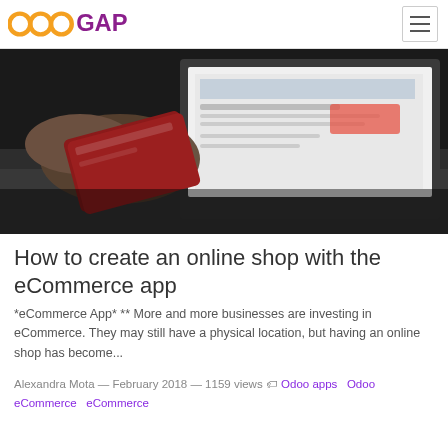OdooGAP
[Figure (photo): A hand holding a red credit card in front of an open laptop on a desk, dark moody lighting.]
How to create an online shop with the eCommerce app
*eCommerce App* ** More and more businesses are investing in eCommerce. They may still have a physical location, but having an online shop has become...
Alexandra Mota — February 2018 — 1159 views  Odoo apps  Odoo eCommerce  eCommerce